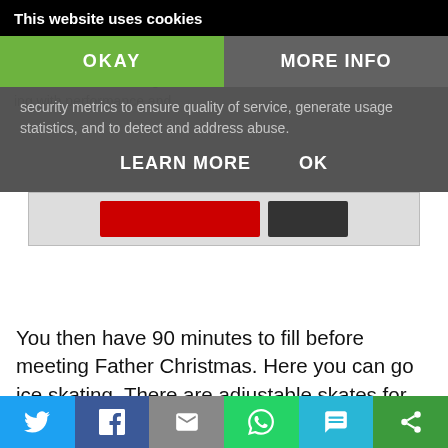[Figure (screenshot): Cookie consent overlay banner on a website. Top black bar reads 'This website uses cookies'. Below is semi-transparent dark overlay with two buttons: green 'OKAY' and grey 'MORE INFO'. Cookie body text is partially visible behind overlay. 'LEARN MORE' and 'OK' action links visible. Background shows partially obscured website article text.]
You then have 90 minutes to fill before meeting Father Christmas. Here you can go ice skating. There are adjustable skates for small children and lots of penguins. As there are lots of people needing penguins you might need to wait for these. There are a number of husky dogs around for you to stroke and some large costumed reindeer. I was worried that big man might ask questions over these but he just loves to cuddle large costumed characters. We then headed for some lunch. The children's meals are big and we bought three and shared them between the five of us. One
[Figure (screenshot): Social sharing bar at bottom with icons for Twitter, Facebook, Email, WhatsApp, SMS, and More (share) buttons in blue, dark blue, grey, green, cyan, and green respectively.]